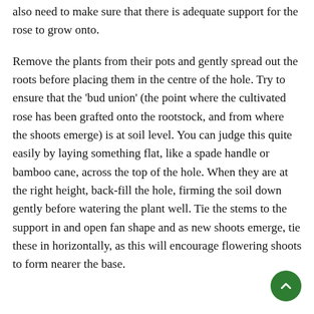also need to make sure that there is adequate support for the rose to grow onto.
Remove the plants from their pots and gently spread out the roots before placing them in the centre of the hole. Try to ensure that the 'bud union' (the point where the cultivated rose has been grafted onto the rootstock, and from where the shoots emerge) is at soil level. You can judge this quite easily by laying something flat, like a spade handle or bamboo cane, across the top of the hole. When they are at the right height, back-fill the hole, firming the soil down gently before watering the plant well. Tie the stems to the support in and open fan shape and as new shoots emerge, tie these in horizontally, as this will encourage flowering shoots to form nearer the base.